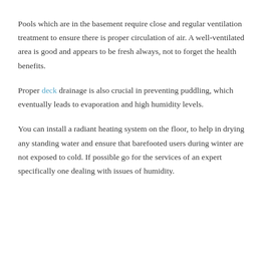Pools which are in the basement require close and regular ventilation treatment to ensure there is proper circulation of air. A well-ventilated area is good and appears to be fresh always, not to forget the health benefits.
Proper deck drainage is also crucial in preventing puddling, which eventually leads to evaporation and high humidity levels.
You can install a radiant heating system on the floor, to help in drying any standing water and ensure that barefooted users during winter are not exposed to cold. If possible go for the services of an expert specifically one dealing with issues of humidity.